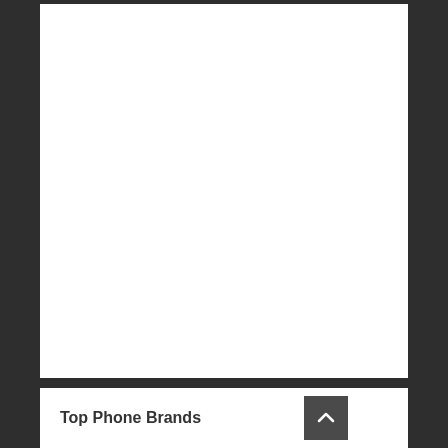[Figure (other): Large white empty panel at the top of the page, serving as a content area placeholder]
Top Phone Brands